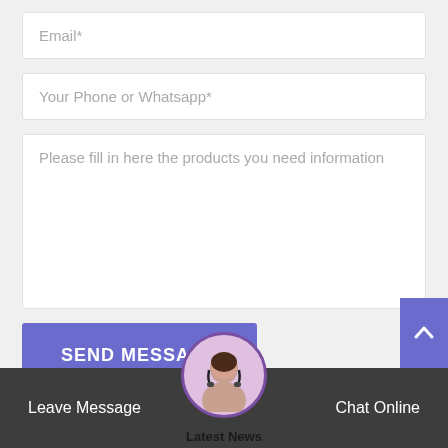Email*
Your Phone or Whatsapp*
Please fill in here the products you need information
SEND MESSAGE
Leave Message
Latest News
Chat Online